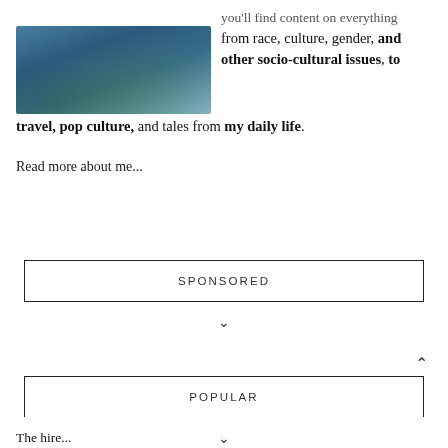[Figure (photo): Partial view of a nature/outdoor photo showing rocks, water, and greenery in blue-toned lighting]
you'll find content on everything from race, culture, gender, and other socio-cultural issues, to travel, pop culture, and tales from my daily life.
Read more about me...
SPONSORED
POPULAR
The hired...